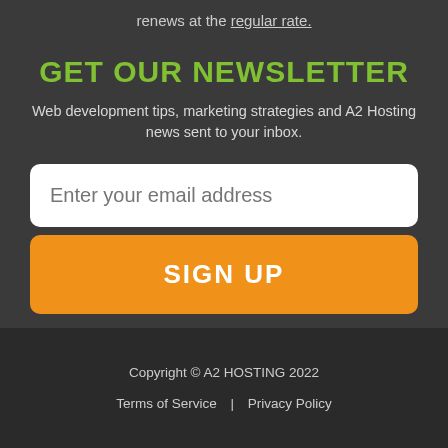renews at the regular rate.
GET OUR NEWSLETTER
Web development tips, marketing strategies and A2 Hosting news sent to your inbox.
[Figure (other): Email signup form with input field placeholder 'Enter your email address' and orange SIGN UP button]
Copyright © A2 HOSTING 2022  |  Terms of Service | Privacy Policy